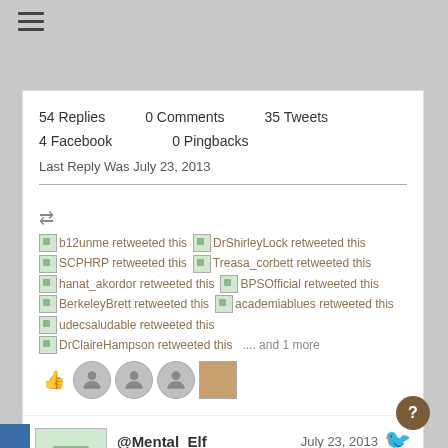54 Replies   0 Comments   35 Tweets
4 Facebook   0 Pingbacks
Last Reply Was July 23, 2013
b12unme retweeted this  DrShirleyLock retweeted this  SCPHRP retweeted this  Treasa_corbett retweeted this  hanat_akordor retweeted this  BPSOfficial retweeted this  BerkeleyBrett retweeted this  academiablues retweeted this  udecsaludable retweeted this  DrClaireHampson retweeted this  .... and 1 more
@Mental_Elf  July 23, 2013
People awaiting surgical procedures often experience anxiety, which can negatively impact blood pressure: http://t.co/1pOjaGvS1a